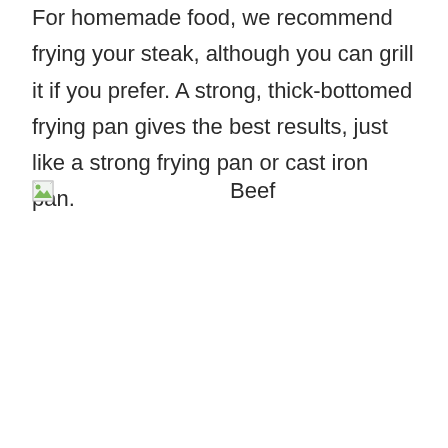For homemade food, we recommend frying your steak, although you can grill it if you prefer. A strong, thick-bottomed frying pan gives the best results, just like a strong frying pan or cast iron pan.
[Figure (photo): Broken image placeholder with alt text 'Beef']